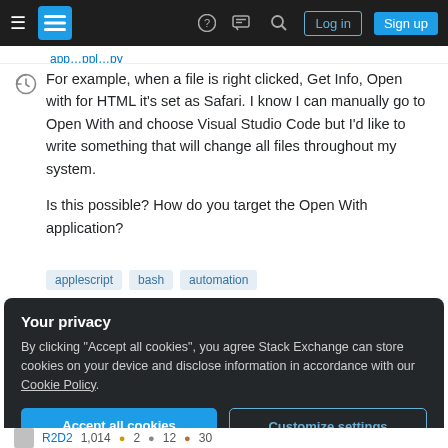Stack Exchange navigation bar with Log in and Sign up buttons
For example, when a file is right clicked, Get Info, Open with for HTML it's set as Safari. I know I can manually go to Open With and choose Visual Studio Code but I'd like to write something that will change all files throughout my system.
Is this possible? How do you target the Open With application?
applescript
bash
automation
Your privacy
By clicking "Accept all cookies", you agree Stack Exchange can store cookies on your device and disclose information in accordance with our Cookie Policy.
Accept all cookies | Customize settings